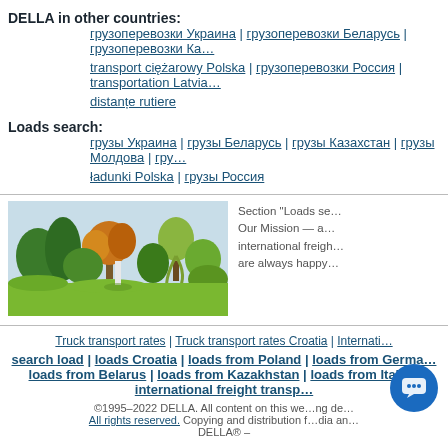DELLA in other countries:
грузоперевозки Украина | грузоперевозки Беларусь | грузоперевозки Ка… transport ciężarowy Polska | грузоперевозки Россия | transportation Latvia… distanțe rutiere
Loads search:
грузы Украина | грузы Беларусь | грузы Казахстан | грузы Молдова | гру… ładunki Polska | грузы Россия
[Figure (photo): Autumn landscape photo with trees in fall foliage and green lawn]
Section "Loads se… Our Mission — a… international freigh… are always happy…
Truck transport rates | Truck transport rates Croatia | Internati…
search load | loads Croatia | loads from Poland | loads from Germa… loads from Belarus | loads from Kazakhstan | loads from Italy… international freight transp…
©1995–2022 DELLA. All content on this we…ng de… All rights reserved. Copying and distribution f…dia an… DELLA® –